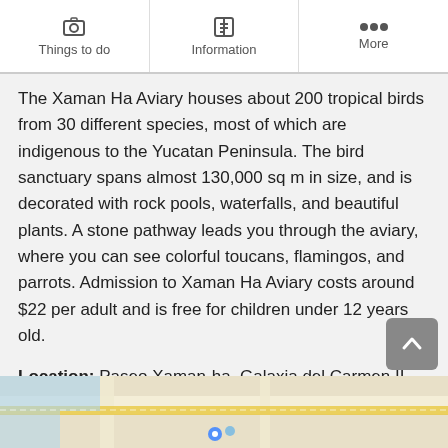Things to do | Information | More
The Xaman Ha Aviary houses about 200 tropical birds from 30 different species, most of which are indigenous to the Yucatan Peninsula. The bird sanctuary spans almost 130,000 sq m in size, and is decorated with rock pools, waterfalls, and beautiful plants. A stone pathway leads you through the aviary, where you can see colorful toucans, flamingos, and parrots. Admission to Xaman Ha Aviary costs around $22 per adult and is free for children under 12 years old.
Location: Paseo Xaman-ha, Galaxia del Carmen II, Playacar, 77717 Playa del Carmen, Q.R., Mexico
Open: Daily from 9 am to 5 pm
[Figure (map): Street map showing location of Xaman Ha Aviary near Playa del Carmen, Mexico]